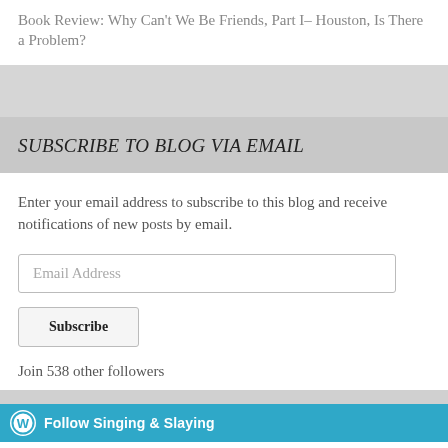Book Review: Why Can't We Be Friends, Part I– Houston, Is There a Problem?
SUBSCRIBE TO BLOG VIA EMAIL
Enter your email address to subscribe to this blog and receive notifications of new posts by email.
Email Address
Subscribe
Join 538 other followers
Follow Singing & Slaying